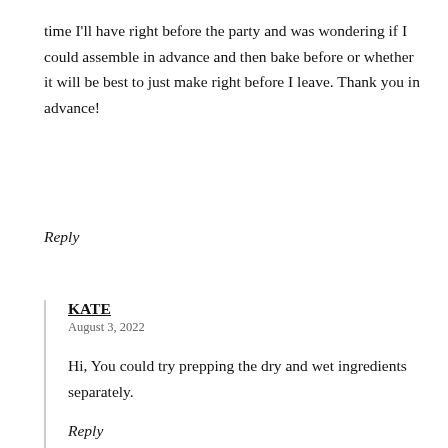time I'll have right before the party and was wondering if I could assemble in advance and then bake before or whether it will be best to just make right before I leave. Thank you in advance!
Reply
KATE
August 3, 2022
Hi, You could try prepping the dry and wet ingredients separately.
Reply